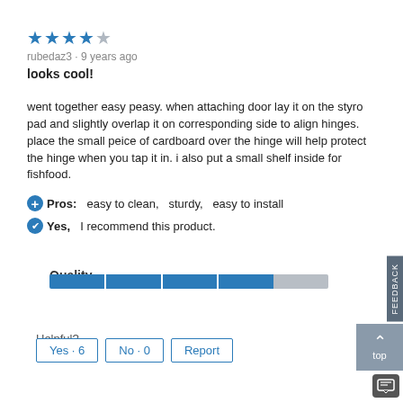[Figure (other): 4 out of 5 stars rating displayed in blue and grey star icons]
rubedaz3 · 9 years ago
looks cool!
went together easy peasy. when attaching door lay it on the styro pad and slightly overlap it on corresponding side to align hinges. place the small peice of cardboard over the hinge will help protect the hinge when you tap it in. i also put a small shelf inside for fishfood.
Pros:  easy to clean,  sturdy,  easy to install
Yes,  I recommend this product.
Quality
[Figure (other): Quality rating bar showing approximately 4 out of 5 segments filled in blue]
Helpful?
Yes · 6   No · 0   Report